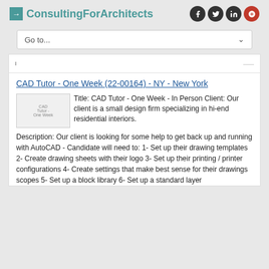ConsultingForArchitects
[Figure (screenshot): Navigation dropdown bar with 'Go to...' placeholder and dropdown arrow]
CAD Tutor - One Week (22-00164) - NY - New York
[Figure (photo): CAD Tutor - One Week image placeholder]
Title: CAD Tutor - One Week - In Person Client: Our client is a small design firm specializing in hi-end residential interiors. Description: Our client is looking for some help to get back up and running with AutoCAD - Candidate will need to: 1- Set up their drawing templates 2- Create drawing sheets with their logo 3- Set up their printing / printer configurations 4- Create settings that make best sense for their drawings scopes 5- Set up a block library 6- Set up a standard layer list and annotated dimensions styles 7- Set